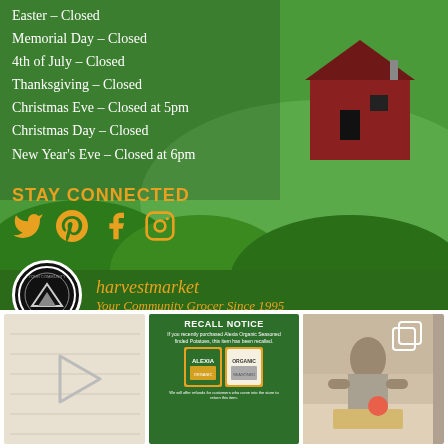Easter – Closed
Memorial Day – Closed
4th of July – Closed
Thanksgiving – Closed
Christmas Eve – Closed at 5pm
Christmas Day – Closed
New Year's Eve – Closed at 6pm
STAY CONNECTED
[Figure (infographic): Social media icons: Twitter, Pinterest, Facebook, Instagram in orange]
[Figure (logo): Harvest Market circular logo in black and white]
harvestmarket
Your Community Grocer Since 1995
[Figure (photo): Video thumbnail placeholder with play button on light wood background]
[Figure (infographic): Recall Notice in green: Alexia organic seasoned fries recall announcement with product images]
[Figure (photo): Photo of person cooking in kitchen]